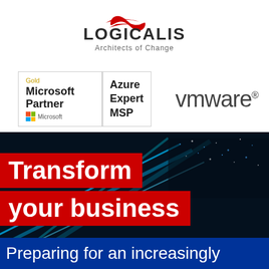[Figure (logo): Logicalis logo with tagline 'Architects of Change' — red infinity/wave symbol above the word LOGICALIS in dark grey, with 'Architects of Change' below in lighter grey]
[Figure (logo): Microsoft Gold Partner | Azure Expert MSP badge — bordered box with 'Gold' in gold text, 'Microsoft Partner' in bold, vertical divider, 'Azure Expert MSP' in bold, Microsoft logo (4-colour squares) at bottom]
[Figure (logo): VMware logo in dark grey with registered trademark symbol]
[Figure (illustration): Dark blue/black technology background with glowing cyan/blue light streaks and blurred city lights]
Transform your business
Preparing for an increasingly